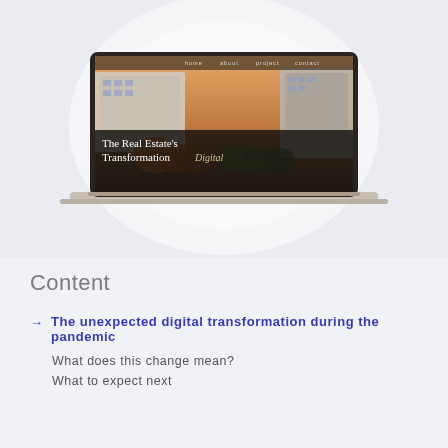[Figure (screenshot): A laptop mockup displaying a real estate website with a hero image of a modern building and text reading 'The Real Estate's Transformation Digital'. The laptop is shown on a light gray background with a circular gradient behind it. The website has a navigation bar with items: home, about, project, contact.]
Content
→ The unexpected digital transformation during the pandemic
What does this change mean?
What to expect next